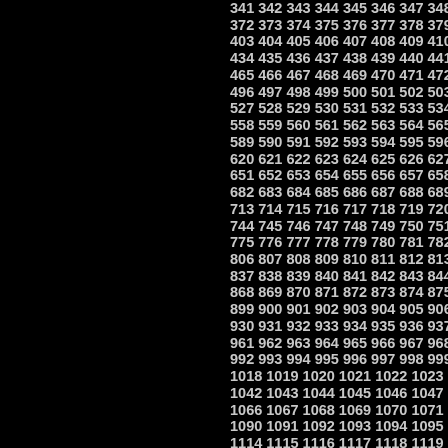Sequential number grid starting from 341, displayed in rows of approximately 10 numbers, continuing through 1144. Left half of page is black (cut off). Numbers visible: 341-349, 372-380, 403-411, 434-442, 465-473, 496-504, 527-535, 558-566, 589-597, 620-628, 651-659, 682-690, 713-721, 744-752, 775-783, 806-814, 837-845, 868-876, 899-907, 930-938, 961-969, 992-1000, 1018-1024, 1042-1048, 1066-1072, 1090-1096, 1114-1120, 1138-1144